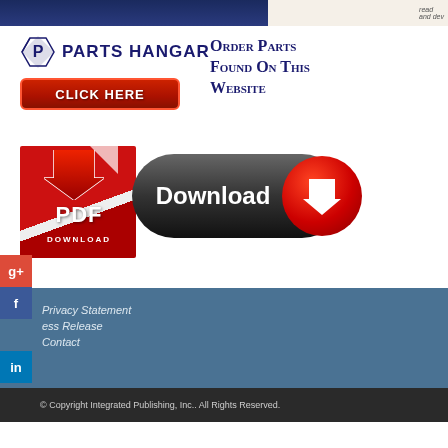[Figure (logo): Parts Hangar logo with click here button and Order Parts Found On This Website text]
[Figure (other): PDF Download button with red document icon and dark Download button]
[Figure (other): Social media sidebar icons: Google+, Facebook, LinkedIn, Twitter, Google+, StumbleUpon]
Privacy Statement
Press Release
Contact
Copyright Integrated Publishing, Inc.. All Rights Reserved.